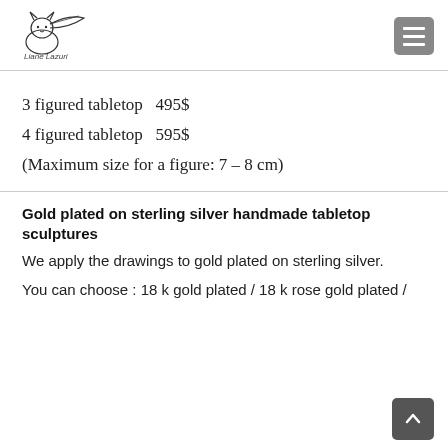Liane Lazuri logo and navigation menu
3 figured tabletop  495$
4 figured tabletop  595$
(Maximum size for a figure: 7 – 8 cm)
Gold plated on sterling silver handmade tabletop sculptures
We apply the drawings to gold plated on sterling silver.
You can choose : 18 k gold plated / 18 k rose gold plated / ...